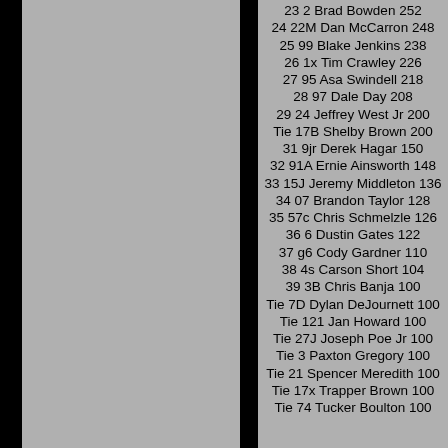23 2 Brad Bowden 252
24 22M Dan McCarron 248
25 99 Blake Jenkins 238
26 1x Tim Crawley 226
27 95 Asa Swindell 218
28 97 Dale Day 208
29 24 Jeffrey West Jr 200
Tie 17B Shelby Brown 200
31 9jr Derek Hagar 150
32 91A Ernie Ainsworth 148
33 15J Jeremy Middleton 136
34 07 Brandon Taylor 128
35 57c Chris Schmelzle 126
36 6 Dustin Gates 122
37 g6 Cody Gardner 110
38 4s Carson Short 104
39 3B Chris Banja 100
Tie 7D Dylan DeJournett 100
Tie 121 Jan Howard 100
Tie 27J Joseph Poe Jr 100
Tie 3 Paxton Gregory 100
Tie 21 Spencer Meredith 100
Tie 17x Trapper Brown 100
Tie 74 Tucker Boulton 100